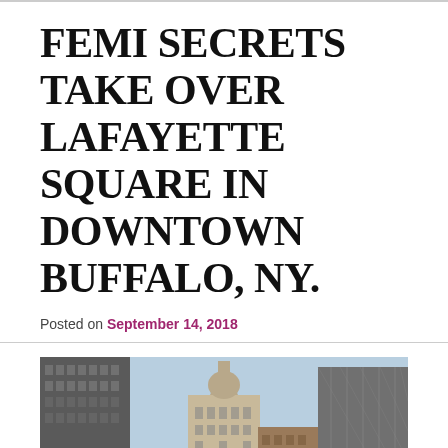FEMI SECRETS TAKE OVER LAFAYETTE SQUARE IN DOWNTOWN BUFFALO, NY.
Posted on September 14, 2018
[Figure (photo): Street-level view looking up at downtown Buffalo, NY buildings including a distinctive art deco skyscraper (Buffalo City Hall) in the center, flanked by other tall buildings, against a light blue sky.]